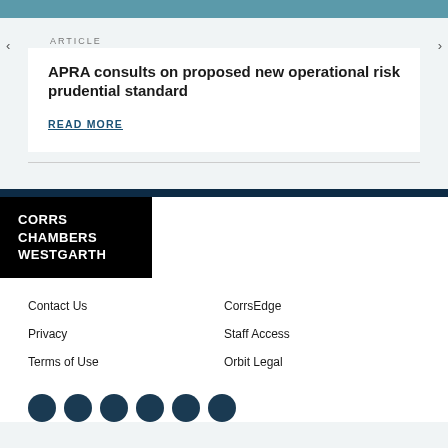ARTICLE
APRA consults on proposed new operational risk prudential standard
READ MORE
[Figure (logo): Corrs Chambers Westgarth law firm logo in white text on black background]
Contact Us | CorrsEdge | Privacy | Staff Access | Terms of Use | Orbit Legal